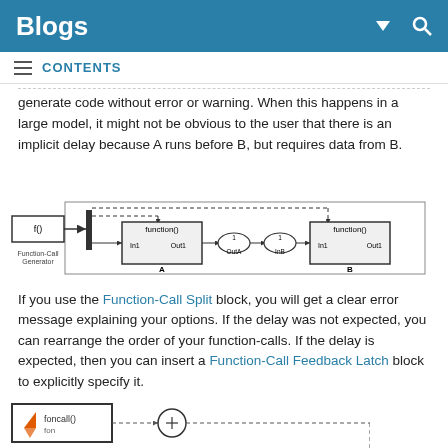Blogs
CONTENTS
generate code without error or warning. When this happens in a large model, it might not be obvious to the user that there is an implicit delay because A runs before B, but requires data from B.
[Figure (engineering-diagram): Simulink block diagram showing Function-Call Generator block (f()) connected via dashed lines to two function blocks (A and B), each with In1 and Out1 ports. Between A and B are OutA and InB signal blocks labeled 1.]
If you use the Function-Call Split block, you will get a clear error message explaining your options. If the delay was not expected, you can rearrange the order of your function-calls. If the delay is expected, then you can insert a Function-Call Feedback Latch block to explicitly specify it.
[Figure (engineering-diagram): Partial Simulink block diagram showing a foncall() block with a MATLAB function icon, connected via dashed lines to a circular block (function-call feedback latch).]